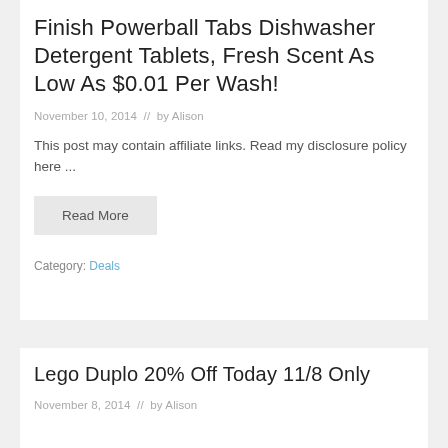Finish Powerball Tabs Dishwasher Detergent Tablets, Fresh Scent As Low As $0.01 Per Wash!
November 10, 2014  //  by Alison
This post may contain affiliate links. Read my disclosure policy here ...
Read More
Category: Deals
Lego Duplo 20% Off Today 11/8 Only
November 8, 2014  //  by Alison